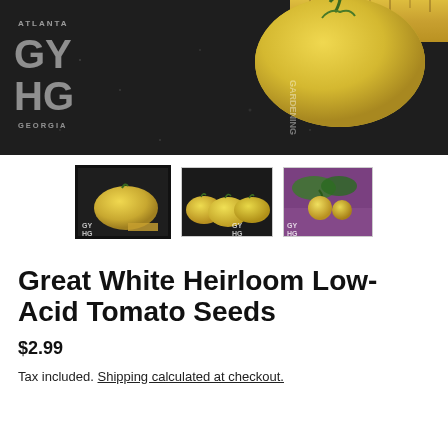[Figure (photo): Large yellow/white heirloom tomato on a dark background with GYHG Atlanta Georgia watermark and a wooden ruler visible. Main product hero image.]
[Figure (photo): Thumbnail 1 (selected): Yellow heirloom tomato on dark background with GYHG watermark and ruler]
[Figure (photo): Thumbnail 2: Multiple yellow heirloom tomatoes side by side on dark background with GYHG watermark]
[Figure (photo): Thumbnail 3: Yellow heirloom tomatoes growing on a vine in a garden with purple backdrop and GYHG watermark]
Great White Heirloom Low-Acid Tomato Seeds
$2.99
Tax included. Shipping calculated at checkout.